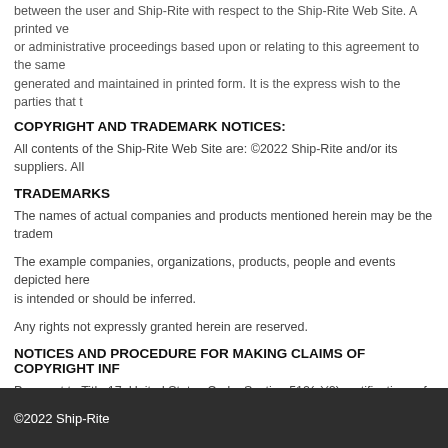between the user and Ship-Rite with respect to the Ship-Rite Web Site. A printed version or administrative proceedings based upon or relating to this agreement to the same generated and maintained in printed form. It is the express wish to the parties that t
COPYRIGHT AND TRADEMARK NOTICES:
All contents of the Ship-Rite Web Site are: ©2022 Ship-Rite and/or its suppliers. All
TRADEMARKS
The names of actual companies and products mentioned herein may be the tradem
The example companies, organizations, products, people and events depicted here is intended or should be inferred.
Any rights not expressly granted herein are reserved.
NOTICES AND PROCEDURE FOR MAKING CLAIMS OF COPYRIGHT INF
Pursuant to Title 17, United States Code, Section 512(c)(2), notifications of claimed Designated Agent. ALL INQUIRIES NOT RELEVANT TO THE FOLLOWING PROC Copyright Infringement.
©2022 Ship-Rite